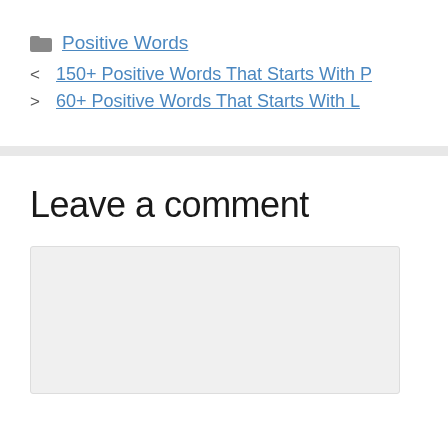Positive Words
150+ Positive Words That Starts With P
60+ Positive Words That Starts With L
Leave a comment